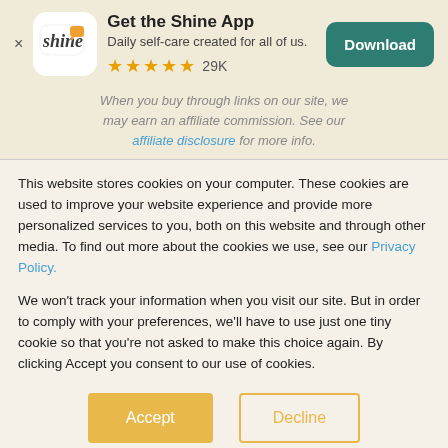[Figure (screenshot): Shine app advertisement banner with logo, title 'Get the Shine App', subtitle 'Daily self-care created for all of us.', five gold stars with '29K' reviews, and a teal Download button]
When you buy through links on our site, we may earn an affiliate commission. See our affiliate disclosure for more info.
This website stores cookies on your computer. These cookies are used to improve your website experience and provide more personalized services to you, both on this website and through other media. To find out more about the cookies we use, see our Privacy Policy.
We won't track your information when you visit our site. But in order to comply with your preferences, we'll have to use just one tiny cookie so that you're not asked to make this choice again. By clicking Accept you consent to our use of cookies.
Accept
Decline